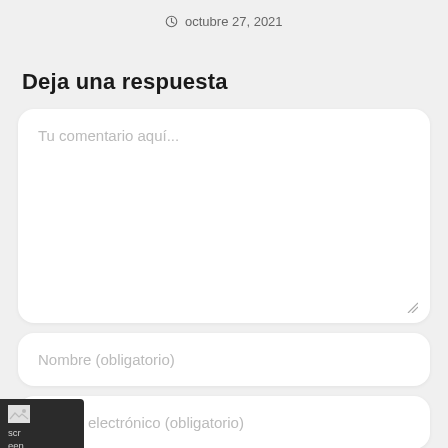octubre 27, 2021
Deja una respuesta
Tu comentario aquí...
Nombre (obligatorio)
Correo electrónico (obligatorio)